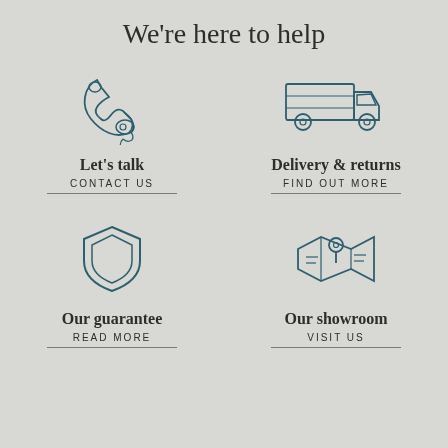We're here to help
[Figure (illustration): Hand-drawn style telephone receiver icon in teal/dark blue color]
[Figure (illustration): Hand-drawn style delivery truck icon in teal/dark blue color]
Let's talk
CONTACT US
Delivery & returns
FIND OUT MORE
[Figure (illustration): Hand-drawn style shield/guarantee icon in teal/dark blue color]
[Figure (illustration): Hand-drawn style map with location pin icon in teal/dark blue color]
Our guarantee
READ MORE
Our showroom
VISIT US